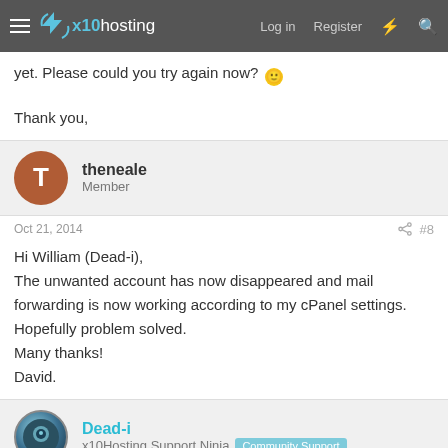x10hosting — Log in  Register
yet. Please could you try again now? 🙂

Thank you,
theneale
Member
Oct 21, 2014   #8
Hi William (Dead-i),
The unwanted account has now disappeared and mail forwarding is now working according to my cPanel settings.
Hopefully problem solved.
Many thanks!
David.
Dead-i
x10Hosting Support Ninja   Community Support